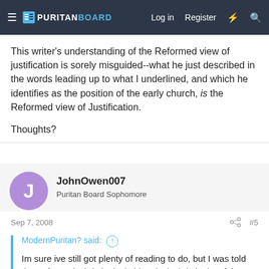PURITANBOARD — Log in | Register
This writer's understanding of the Reformed view of justification is sorely misguided--what he just described in the words leading up to what I underlined, and which he identifies as the position of the early church, is the Reformed view of Justification.
Thoughts?
JohnOwen007
Puritan Board Sophomore
Sep 7, 2008  #5
ModernPuritan? said:
Im sure ive still got plenty of reading to do, but I was told that reformed Christianity is historical Christianity of the early church.